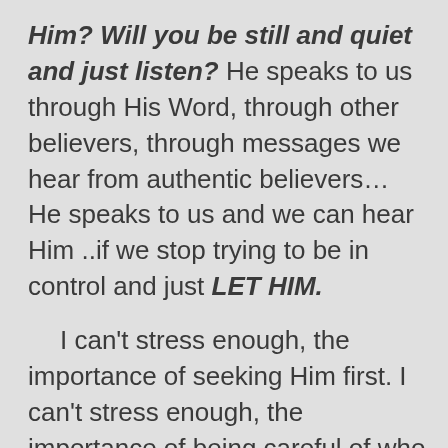Him? Will you be still and quiet and just listen? He speaks to us through His Word, through other believers, through messages we hear from authentic believers… He speaks to us and we can hear Him ..if we stop trying to be in control and just LET HIM.

   I can't stress enough, the importance of seeking Him first. I can't stress enough, the importance of being careful of who you seek advice from. If it doesn't line up with Scripture….if it leads you against God's teaching and God's character